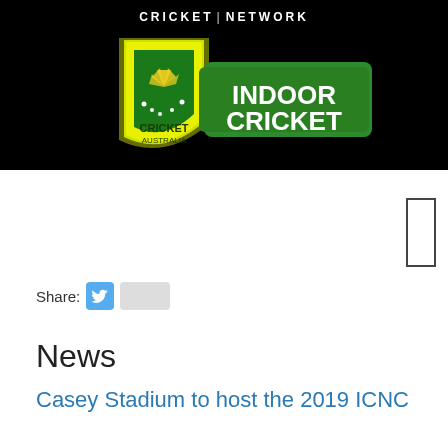CRICKET | NETWORK
[Figure (logo): Cricket Australia Indoor Cricket logo — yellow shield with Cricket Australia branding on the left, green banner with 'INDOOR CRICKET' text on the right, on a black background]
Share:
News
Casey Stadium to host the 2019 ICNC